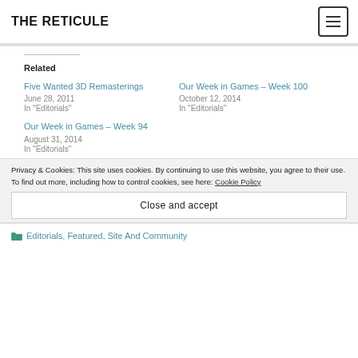THE RETICULE
Related
Five Wanted 3D Remasterings
June 28, 2011
In "Editorials"
Our Week in Games – Week 100
October 12, 2014
In "Editorials"
Our Week in Games – Week 94
August 31, 2014
In "Editorials"
Privacy & Cookies: This site uses cookies. By continuing to use this website, you agree to their use.
To find out more, including how to control cookies, see here: Cookie Policy
Close and accept
Editorials, Featured, Site And Community